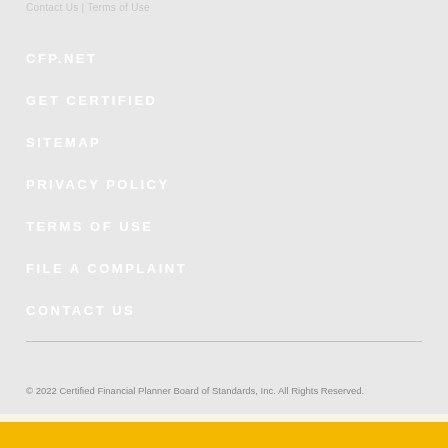Contact Us | Terms of Use
CFP.NET
GET CERTIFIED
SITEMAP
PRIVACY POLICY
TERMS OF USE
FILE A COMPLAINT
CONTACT US
© 2022 Certified Financial Planner Board of Standards, Inc. All Rights Reserved.